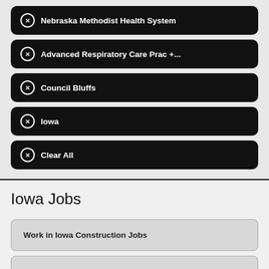✕ Nebraska Methodist Health System
✕ Advanced Respiratory Care Prac +...
✕ Council Bluffs
✕ Iowa
✕ Clear All
Iowa Jobs
Work in Iowa Construction Jobs
Work in Iowa Jobs